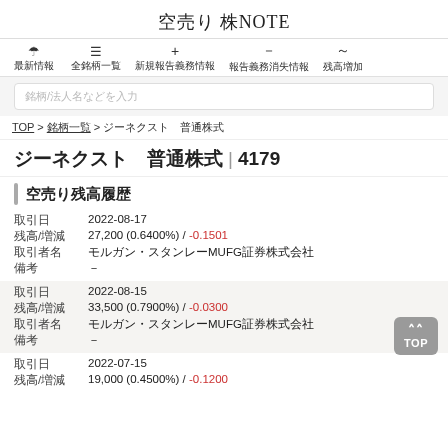空売り 株NOTE
最新情報　全銘柄一覧　新規報告義務情報　報告義務消失情報　残高増加
銘柄/法人名などを入力 (placeholder)
TOP > 銘柄一覧 > ジーネクスト 普通株式
ジーネクスト　普通株式 | 4179
空売り残高履歴
| フィールド | 値 |
| --- | --- |
| 取引日 | 2022-08-17 |
| 残高/増減 | 27,200 (0.6400%) / -0.1501 |
| 取引者名 | モルガン・スタンレーMUFG証券株式会社 |
| 備考 | － |
| フィールド | 値 |
| --- | --- |
| 取引日 | 2022-08-15 |
| 残高/増減 | 33,500 (0.7900%) / -0.0300 |
| 取引者名 | モルガン・スタンレーMUFG証券株式会社 |
| 備考 | － |
| フィールド | 値 |
| --- | --- |
| 取引日 | 2022-07-15 |
| 残高/増減 | 19,000 (0.4500%) / -0.1200 |